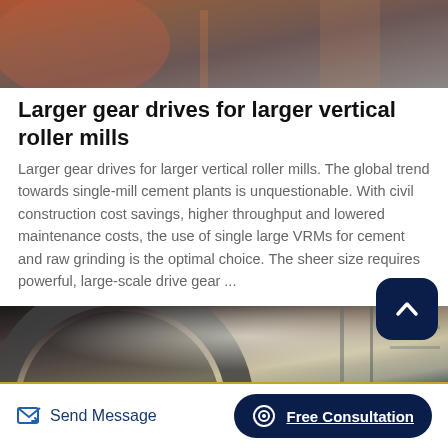[Figure (photo): Top portion of industrial vertical roller mill equipment, partial view cropped at top of page]
Larger gear drives for larger vertical roller mills
Larger gear drives for larger vertical roller mills. The global trend towards single-mill cement plants is unquestionable. With civil construction cost savings, higher throughput and lowered maintenance costs, the use of single large VRMs for cement and raw grinding is the optimal choice. The sheer size requires powerful, large-scale drive gear ...
[Figure (photo): Industrial mill equipment in a factory setting, large circular drum/ring visible in foreground with industrial structure and scaffolding in background, hazy/dusty atmosphere]